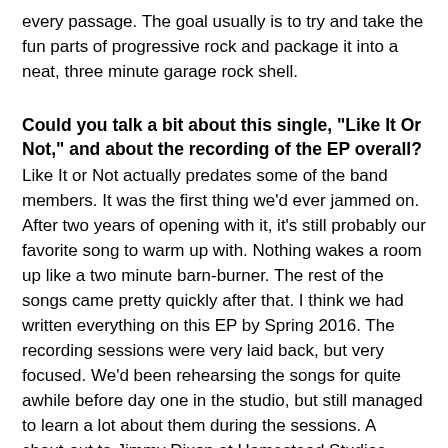every passage. The goal usually is to try and take the fun parts of progressive rock and package it into a neat, three minute garage rock shell.
Could you talk a bit about this single, "Like It Or Not," and about the recording of the EP overall?
Like It or Not actually predates some of the band members. It was the first thing we'd ever jammed on. After two years of opening with it, it's still probably our favorite song to warm up with. Nothing wakes a room up like a two minute barn-burner. The rest of the songs came pretty quickly after that. I think we had written everything on this EP by Spring 2016. The recording sessions were very laid back, but very focused. We'd been rehearsing the songs for quite awhile before day one in the studio, but still managed to learn a lot about them during the sessions. A shout-out to Jimmy Dixon at Homestead Studios, when we have everything ready for #2, we'll definitely be headed back there.
What is your take on the Detroit music scene? And does it, at all, play an influential role in your music?